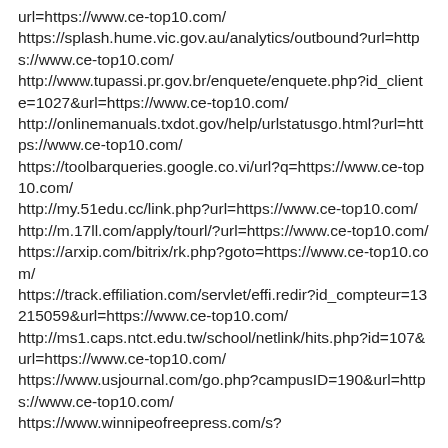url=https://www.ce-top10.com/
https://splash.hume.vic.gov.au/analytics/outbound?url=https://www.ce-top10.com/
http://www.tupassi.pr.gov.br/enquete/enquete.php?id_cliente=1027&url=https://www.ce-top10.com/
http://onlinemanuals.txdot.gov/help/urlstatusgo.html?url=https://www.ce-top10.com/
https://toolbarqueries.google.co.vi/url?q=https://www.ce-top10.com/
http://my.51edu.cc/link.php?url=https://www.ce-top10.com/
http://m.17ll.com/apply/tourl/?url=https://www.ce-top10.com/
https://arxip.com/bitrix/rk.php?goto=https://www.ce-top10.com/
https://track.effiliation.com/servlet/effi.redir?id_compteur=13215059&url=https://www.ce-top10.com/
http://ms1.caps.ntct.edu.tw/school/netlink/hits.php?id=107&url=https://www.ce-top10.com/
https://www.usjournal.com/go.php?campusID=190&url=https://www.ce-top10.com/
https://www.winnipeofreepress.com/s?...